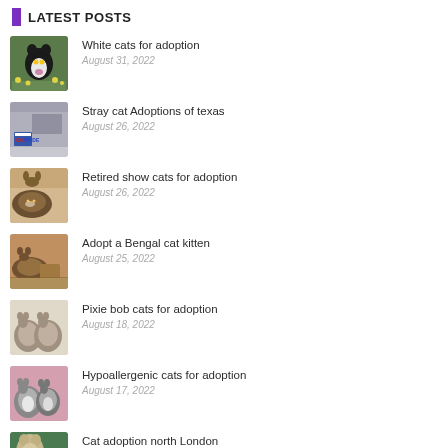LATEST POSTS
White cats for adoption
August 31, 2022
Stray cat Adoptions of texas
August 26, 2022
Retired show cats for adoption
August 26, 2022
Adopt a Bengal cat kitten
August 25, 2022
Pixie bob cats for adoption
August 18, 2022
Hypoallergenic cats for adoption
August 17, 2022
Cat adoption north London
August 16, 2022